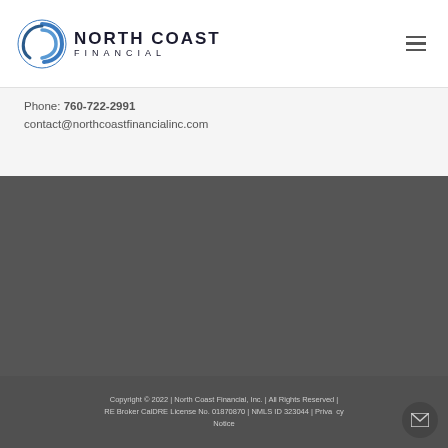[Figure (logo): North Coast Financial logo with swirl graphic and company name]
Phone: 760-722-2991
contact@northcoastfinancialinc.com
[Figure (photo): Grid of five placeholder property/real estate images in dark gray boxes]
Copyright © 2022 | North Coast Financial, Inc. | All Rights Reserved | RE Broker CalDRE License No. 01870870 | NMLS ID 323044 | Privacy Notice